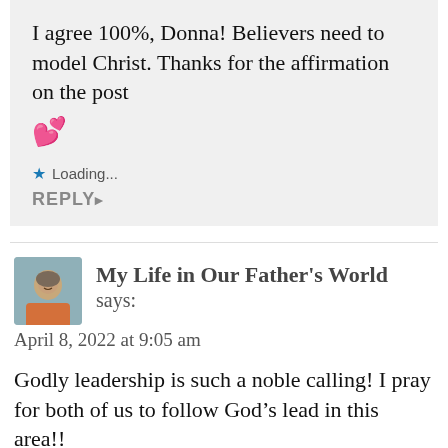I agree 100%, Donna! Believers need to model Christ. Thanks for the affirmation on the post 💕
Loading...
REPLY
My Life in Our Father's World says: April 8, 2022 at 9:05 am
Godly leadership is such a noble calling! I pray for both of us to follow God's lead in this area!!